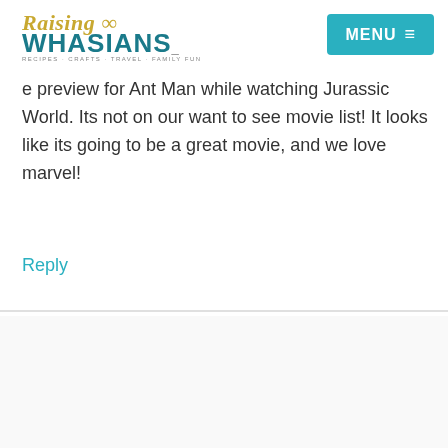Raising Whasians | MENU
e preview for Ant Man while watching Jurassic World. Its not on our want to see movie list! It looks like its going to be a great movie, and we love marvel!
Reply
M.Clark says
June 18, 2015 at 12:15 am
Yes, I do see the crossover beginning. I am really looking forward to seeing Ant-Man and